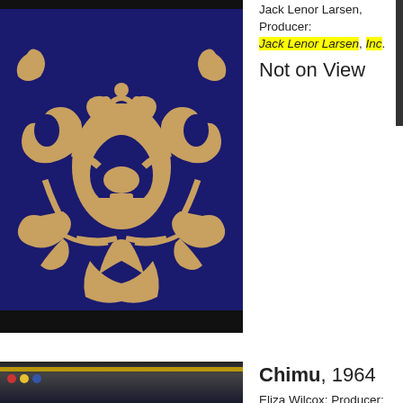[Figure (photo): A decorative textile/fabric with a dark navy blue background and ornate golden-tan baroque/damask pattern featuring scrolling foliage, urns, and floral motifs. The image is cropped and spans most of the left column.]
Jack Lenor Larsen, Producer: Jack Lenor Larsen, Inc.
Not on View
Chimu, 1964
Eliza Wilcox; Producer: Jack
[Figure (photo): Partial view of another textile item, bottom of page, dark with gold strip visible.]